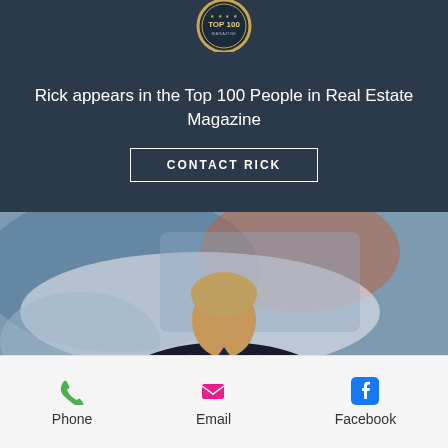[Figure (logo): Top 100 People in Real Estate Magazine badge/seal at top of dark section]
Rick appears in the Top 100 People in Real Estate Magazine
CONTACT RICK
[Figure (photo): Portrait photo of Rick, a middle-aged man in a dark suit jacket and white shirt, seated in front of an abstract painting]
Phone
Email
Facebook